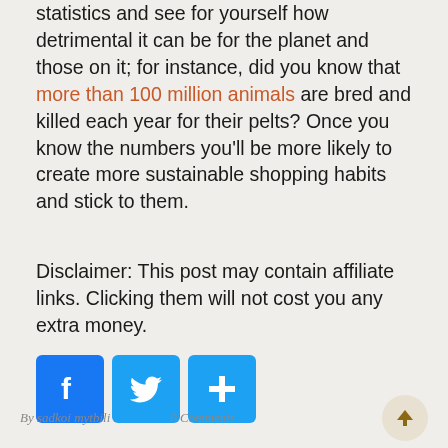statistics and see for yourself how detrimental it can be for the planet and those on it; for instance, did you know that more than 100 million animals are bred and killed each year for their pelts? Once you know the numbers you'll be more likely to create more sustainable shopping habits and stick to them.
Disclaimer: This post may contain affiliate links. Clicking them will not cost you any extra money.
[Figure (infographic): Three social share buttons: Facebook (blue with f logo), Twitter (blue with bird logo), and a share/add button (blue with plus sign)]
By sadkoi mytbili    0 Comments